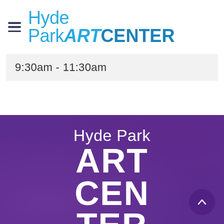Hyde Park ART CENTER
9:30am - 11:30am
[Figure (logo): Hyde Park ART CENTER logo on purple background with large bold white text reading Hyde Park ART CEN TER stacked, with a circular scroll-up button in the bottom right corner]